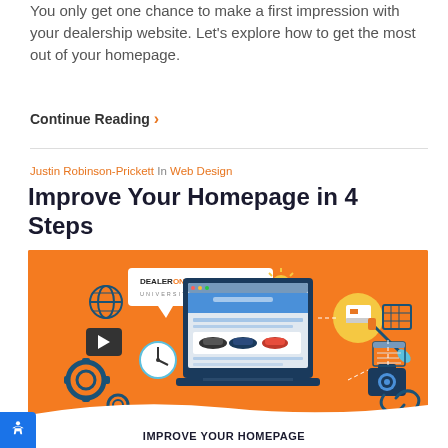You only get one chance to make a first impression with your dealership website. Let’s explore how to get the most out of your homepage.
Continue Reading ›
Justin Robinson-Prickett In Web Design
Improve Your Homepage in 4 Steps
[Figure (illustration): Orange background illustration featuring a DealerOn University logo, a tablet/laptop showing a car dealership website with three cars, surrounded by icons: gear, clock, play button, globe, paint brush, camera, chain link, and other web design elements.]
IMPROVE YOUR HOMEPAGE